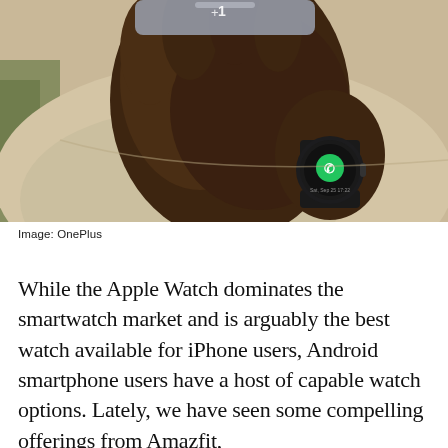[Figure (photo): Close-up photograph of a person's hand holding a smartphone (OnePlus phone visible at top), wearing a round smartwatch with a green call screen on wrist, dressed in a beige hoodie, with green foliage in background.]
Image: OnePlus
While the Apple Watch dominates the smartwatch market and is arguably the best watch available for iPhone users, Android smartphone users have a host of capable watch options. Lately, we have seen some compelling offerings from Amazfit,